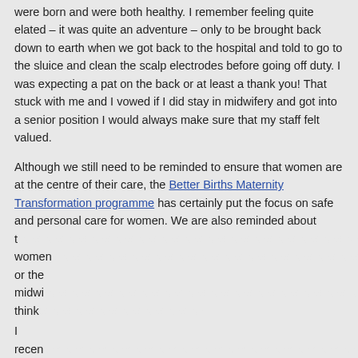were born and were both healthy. I remember feeling quite elated – it was quite an adventure – only to be brought back down to earth when we got back to the hospital and told to go to the sluice and clean the scalp electrodes before going off duty. I was expecting a pat on the back or at least a thank you! That stuck with me and I vowed if I did stay in midwifery and got into a senior position I would always make sure that my staff felt valued.
Although we still need to be reminded to ensure that women are at the centre of their care, the Better Births Maternity Transformation programme has certainly put the focus on safe and personal care for women. We are also reminded about the importance of this issue and the need the women … or the midwi… don't think …
[Figure (other): Cookie consent popup overlay for West of England Academic Health Science Network with close button and arrow navigation button]
I recen… Royal